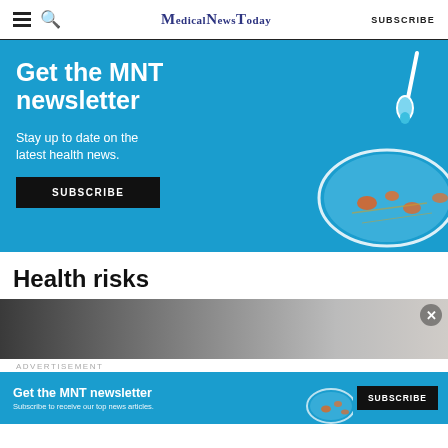MedicalNewsToday  SUBSCRIBE
[Figure (infographic): MNT newsletter subscription banner with blue background, large white text 'Get the MNT newsletter', 'Stay up to date on the latest health news.', a SUBSCRIBE button, and an illustration of a petri dish with dropper]
Health risks
[Figure (photo): Partial photo of a person wearing headphones, dark toned image cropped at bottom, with X close button in top right]
ADVERTISEMENT
[Figure (infographic): Smaller MNT newsletter subscription banner: 'Get the MNT newsletter', 'Subscribe to receive our top news articles.', SUBSCRIBE button, petri dish illustration]